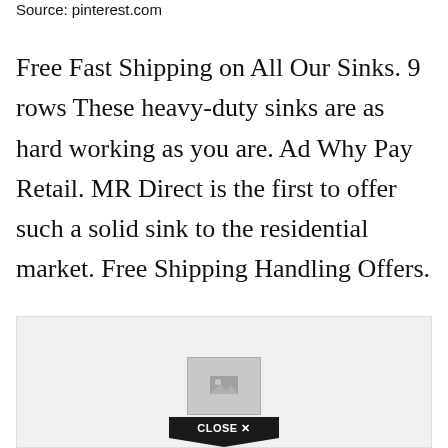Source: pinterest.com
Free Fast Shipping on All Our Sinks. 9 rows These heavy-duty sinks are as hard working as you are. Ad Why Pay Retail. MR Direct is the first to offer such a solid sink to the residential market. Free Shipping Handling Offers.
[Figure (other): Advertisement placeholder image with a 'CLOSE X' button overlay at the bottom]